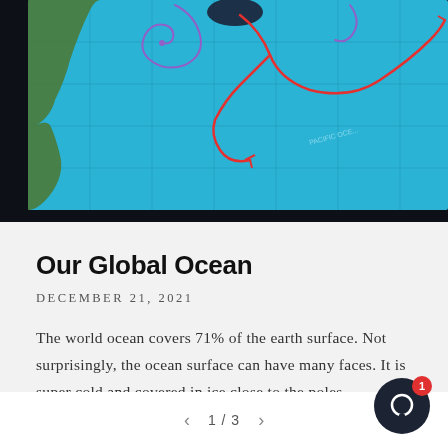[Figure (map): World ocean current map visualization showing global ocean circulation patterns with red and purple swirling arrows over a blue stylized world map with green land masses visible at edges, on dark background]
Our Global Ocean
DECEMBER 21, 2021
The world ocean covers 71% of the earth surface. Not surprisingly, the ocean surface can have many faces. It is super cold and covered in ice close to the poles,...